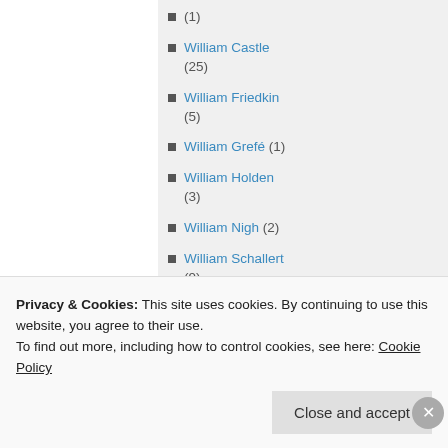(1)
William Castle (25)
William Friedkin (5)
William Grefé (1)
William Holden (3)
William Nigh (2)
William Schallert (9)
William Talman (2)
William Witney (3)
Privacy & Cookies: This site uses cookies. By continuing to use this website, you agree to their use.
To find out more, including how to control cookies, see here: Cookie Policy
Close and accept